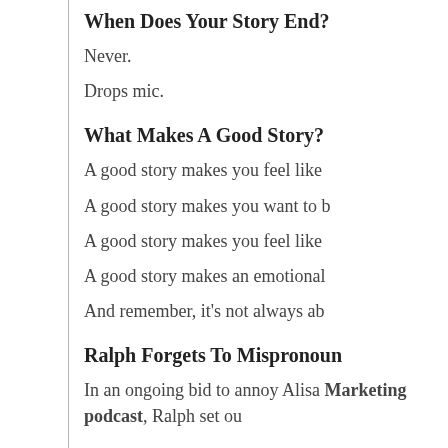When Does Your Story End?
Never.
Drops mic.
What Makes A Good Story?
A good story makes you feel like
A good story makes you want to b
A good story makes you feel like
A good story makes an emotional
And remember, it's not always ab
Ralph Forgets To Mispronoun
In an ongoing bid to annoy Alisa Marketing podcast, Ralph set ou